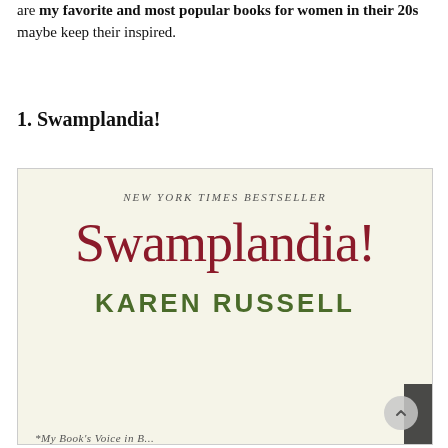are my favorite and most popular books for women in their 20s maybe keep their inspired.
1. Swamplandia!
[Figure (photo): Book cover of 'Swamplandia!' by Karen Russell, labeled as New York Times Bestseller. The cover has a cream/beige background with the title in large dark red serif font and the author name in large green sans-serif bold font.]